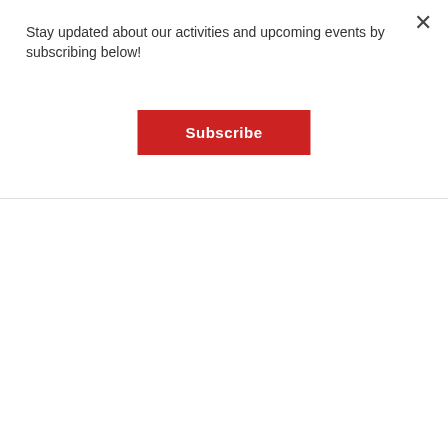Stay updated about our activities and upcoming events by subscribing below!
Subscribe
Zeina Abdel Khalik
"The course marked a new beginning for me; it enabled a better understanding of the conceptual framework of gender, gender analysis concepts, intersectionality, and feminist pedagogy."
READ HER FULL BLOG HERE